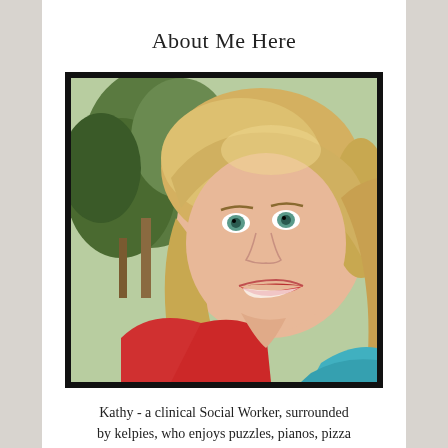About Me Here
[Figure (photo): Portrait photo of a smiling blonde woman with blue-green eyes, wearing a red top, with trees in the background. A turquoise top is visible at bottom right.]
Kathy - a clinical Social Worker, surrounded by kelpies, who enjoys puzzles, pianos, pizza